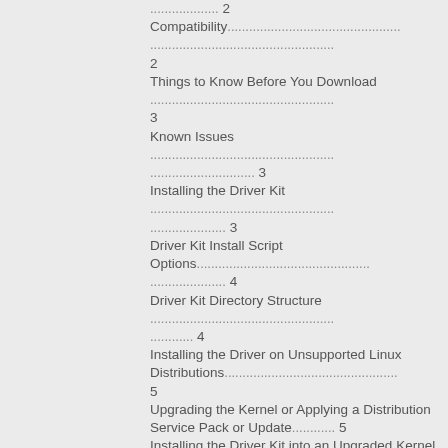Compatibility 2
Things to Know Before You Download 3
Known Issues 3
Installing the Driver Kit 3
Driver Kit Install Script Options 4
Driver Kit Directory Structure 4
Installing the Driver on Unsupported Linux Distributions 5
Upgrading the Kernel or Applying a Distribution Service Pack or Update 5
Installing the Driver Kit into an Upgraded Kernel 5